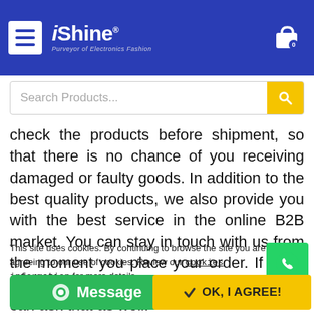iShine — Purveyor of Electronics Fashion
check the products before shipment, so that there is no chance of you receiving damaged or faulty goods. In addition to the best quality products, we also provide you with the best service in the online B2B market. You can stay in touch with us from the moment you place your order. If there are any queries about the products you can ask that as well.
This site uses cookies. By continuing to browse the site you are agreeing to our use of cookies. Review our cookies information for more details.
Message
OK, I AGREE!